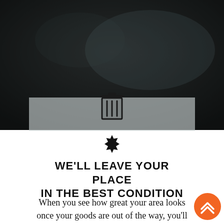[Figure (photo): Dark moody background image with dim lighting, brownish-grey tones suggesting an interior or outdoor scene at dusk]
[Figure (illustration): Trash can / waste bin icon in dark color, centered on the semi-transparent card overlay]
[Figure (illustration): Decorative star/seal shape icon in black, centered on white card]
WE'LL LEAVE YOUR PLACE IN THE BEST CONDITION
When you see how great your area looks once your goods are out of the way, you'll be pleased you called our
[Figure (illustration): Orange circular FAB button with double upward chevron arrows in white]